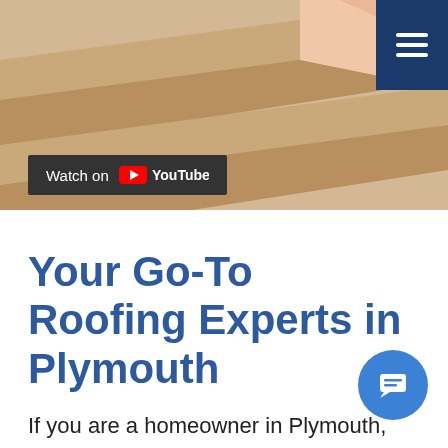[Figure (illustration): Roofing illustration showing angled roof sections in tan and beige tones, with a dark navy hamburger menu button in the top-right corner]
[Figure (screenshot): YouTube 'Watch on YouTube' badge — dark background with YouTube logo and text]
Your Go-To Roofing Experts in Plymouth
If you are a homeowner in Plymouth, Minnesota, then you know that the weather can be unforgiving – especially Storm damage from hail during the wet seas… So, ensuring that your roof is always in